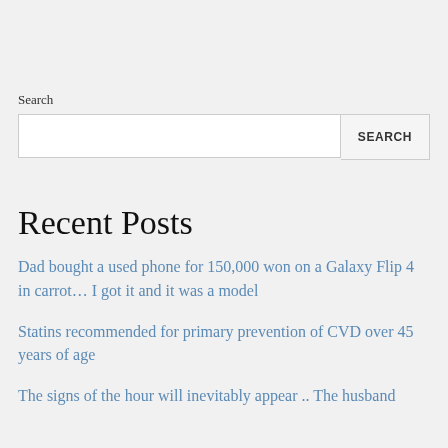Search
SEARCH
Recent Posts
Dad bought a used phone for 150,000 won on a Galaxy Flip 4 in carrot... I got it and it was a model
Statins recommended for primary prevention of CVD over 45 years of age
The signs of the hour will inevitably appear .. The husband